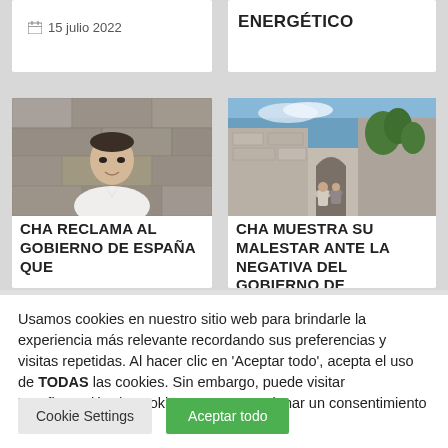15 julio 2022
ENERGÉTICO
[Figure (photo): Portrait photo of a man in white shirt against stone wall background]
CHA RECLAMA AL GOBIERNO DE ESPAÑA QUE
[Figure (photo): Outdoor photo with stone architecture and blue sky, people visible]
CHA MUESTRA SU MALESTAR ANTE LA NEGATIVA DEL GOBIERNO DE
Usamos cookies en nuestro sitio web para brindarle la experiencia más relevante recordando sus preferencias y visitas repetidas. Al hacer clic en 'Aceptar todo', acepta el uso de TODAS las cookies. Sin embargo, puede visitar 'Configuración de cookies' para proporcionar un consentimiento controlado..
Cookie Settings
Aceptar todo